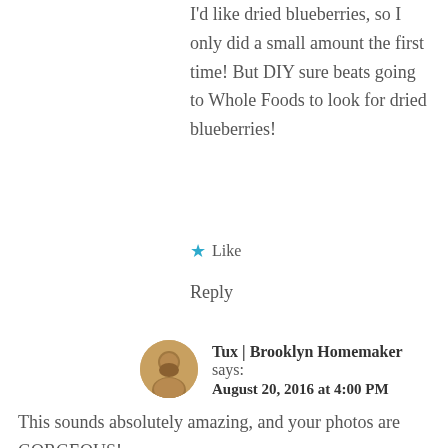I'd like dried blueberries, so I only did a small amount the first time! But DIY sure beats going to Whole Foods to look for dried blueberries!
★ Like
Reply
Tux | Brooklyn Homemaker says: August 20, 2016 at 4:00 PM
This sounds absolutely amazing, and your photos are GORGEOUS!
★ Liked by 1 person